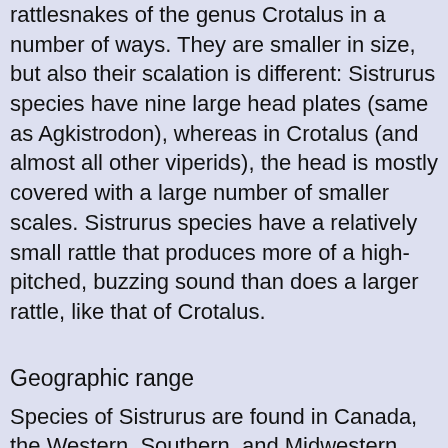rattlesnakes of the genus Crotalus in a number of ways. They are smaller in size, but also their scalation is different: Sistrurus species have nine large head plates (same as Agkistrodon), whereas in Crotalus (and almost all other viperids), the head is mostly covered with a large number of smaller scales. Sistrurus species have a relatively small rattle that produces more of a high-pitched, buzzing sound than does a larger rattle, like that of Crotalus.
Geographic range
Species of Sistrurus are found in Canada, the Western, Southern, and Midwestern United States, and isolated populations in southern and eastern Mexico.[1]
Venom
Although bites from Sistrurus species